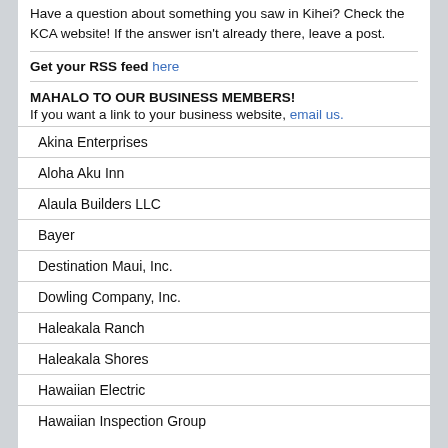Have a question about something you saw in Kihei? Check the KCA website! If the answer isn't already there, leave a post.
Get your RSS feed here
MAHALO TO OUR BUSINESS MEMBERS!
If you want a link to your business website, email us.
Akina Enterprises
Aloha Aku Inn
Alaula Builders LLC
Bayer
Destination Maui, Inc.
Dowling Company, Inc.
Haleakala Ranch
Haleakala Shores
Hawaiian Electric
Hawaiian Inspection Group